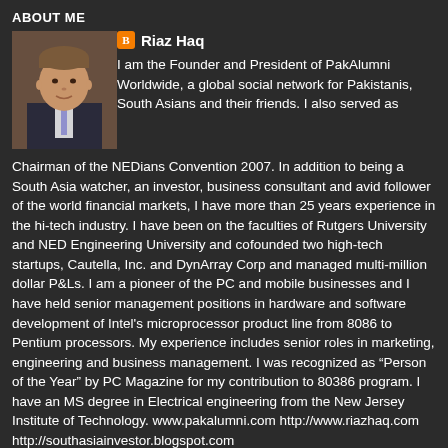ABOUT ME
[Figure (photo): Profile photo of Riaz Haq, a man in a suit and tie]
Riaz Haq
I am the Founder and President of PakAlumni Worldwide, a global social network for Pakistanis, South Asians and their friends. I also served as Chairman of the NEDians Convention 2007. In addition to being a South Asia watcher, an investor, business consultant and avid follower of the world financial markets, I have more than 25 years experience in the hi-tech industry. I have been on the faculties of Rutgers University and NED Engineering University and cofounded two high-tech startups, Cautella, Inc. and DynArray Corp and managed multi-million dollar P&Ls. I am a pioneer of the PC and mobile businesses and I have held senior management positions in hardware and software development of Intel's microprocessor product line from 8086 to Pentium processors. My experience includes senior roles in marketing, engineering and business management. I was recognized as “Person of the Year” by PC Magazine for my contribution to 80386 program. I have an MS degree in Electrical engineering from the New Jersey Institute of Technology. www.pakalumni.com http://www.riazhaq.com http://southasiainvestor.blogspot.com